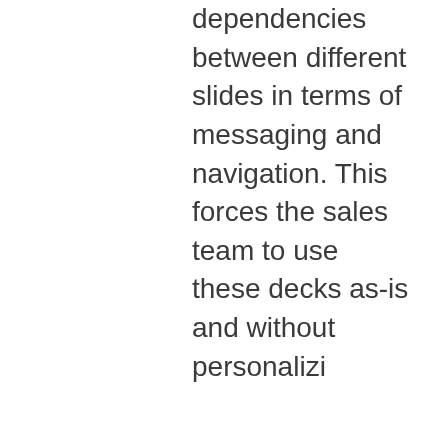dependencies between different slides in terms of messaging and navigation. This forces the sales team to use these decks as-is and without personalizi